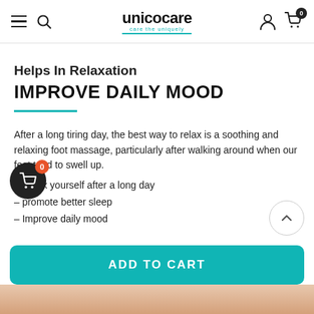unicocare — care the uniquely
Helps In Relaxation
IMPROVE DAILY MOOD
After a long tiring day, the best way to relax is a soothing and relaxing foot massage, particularly after walking around when our feet tend to swell up.
- Relax yourself after a long day
- promote better sleep
- Improve daily mood